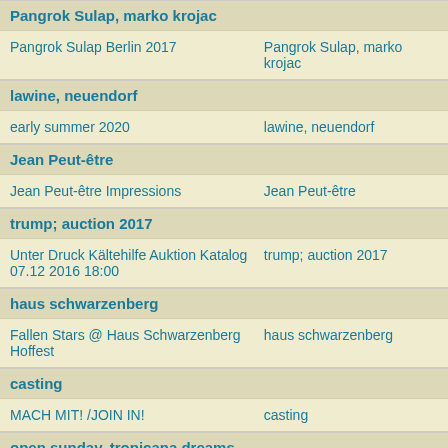Pangrok Sulap, marko krojac
| Pangrok Sulap Berlin 2017 | Pangrok Sulap, marko krojac |
lawine, neuendorf
| early summer 2020 | lawine, neuendorf |
Jean Peut-être
| Jean Peut-être Impressions | Jean Peut-être |
trump; auction 2017
| Unter Druck Kältehilfe Auktion Katalog 07.12 2016 18:00 | trump; auction 2017 |
haus schwarzenberg
| Fallen Stars @ Haus Schwarzenberg Hoffest | haus schwarzenberg |
casting
| MACH MIT! /JOIN IN! | casting |
open sunday, tropicana dreams